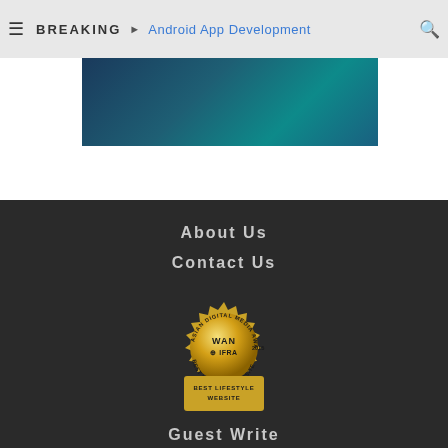BREAKING  Android App Development
[Figure (illustration): Dark blue gradient banner image]
About Us
Contact Us
[Figure (logo): Asian Digital Media Awards 2015 WAN-IFRA Best Lifestyle Website gold badge/seal]
Guest Write